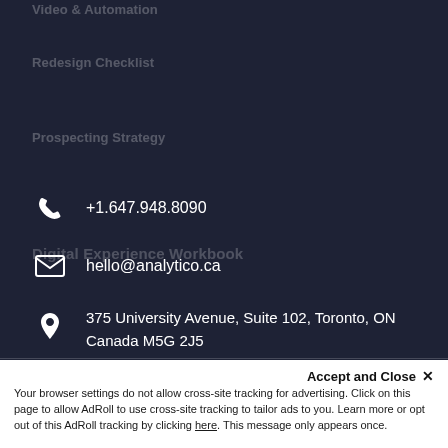Video & Automation
Redesign Checklist
Prospecting Strategy
+1.647.948.8090
hello@analytico.ca
375 University Avenue, Suite 102, Toronto, ON Canada M5G 2J5
Digital Experience Workbook
Accept and Close ✕
Your browser settings do not allow cross-site tracking for advertising. Click on this page to allow AdRoll to use cross-site tracking to tailor ads to you. Learn more or opt out of this AdRoll tracking by clicking here. This message only appears once.